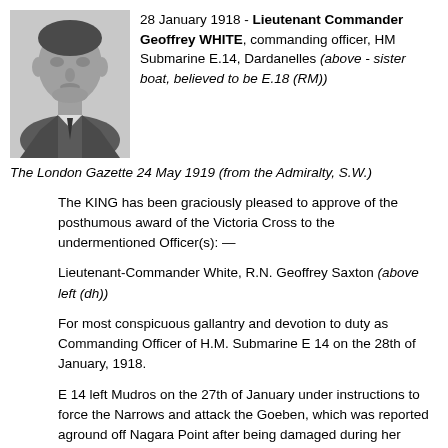[Figure (photo): Black and white portrait photo of Lieutenant Commander Geoffrey WHITE, a young man in military uniform]
28 January 1918 - Lieutenant Commander Geoffrey WHITE, commanding officer, HM Submarine E.14, Dardanelles (above - sister boat, believed to be E.18 (RM))
The London Gazette 24 May 1919 (from the Admiralty, S.W.)
The KING has been graciously pleased to approve of the posthumous award of the Victoria Cross to the undermentioned Officer(s): —
Lieutenant-Commander White, R.N. Geoffrey Saxton (above left (dh))
For most conspicuous gallantry and devotion to duty as Commanding Officer of H.M. Submarine E 14 on the 28th of January, 1918.
E 14 left Mudros on the 27th of January under instructions to force the Narrows and attack the Goeben, which was reported aground off Nagara Point after being damaged during her sortie from the Dardanelles. The latter vessel was not found and E 14 turned back. At about 8.45 a.m. on the 28th of January a torpedo was fired from E 14 at an enemy ship; 11 seconds after the torpedo left the tube a heavy explosion took place, caused all lights to go